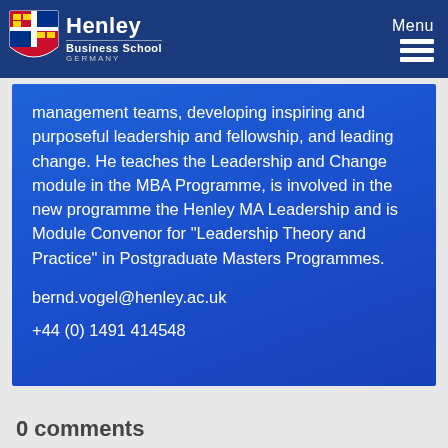Henley Business School GERMANY | Menu
management teams, developing inspiring and purposeful leadership and fellowship, and leading change. He teaches the Leadership and Change module in the MBA Programme, is involved in the new programme the Henley MA Leadership and is Module Convenor for "Leadership Theory and Practice" in Postgraduate Masters Programmes.
bernd.vogel@henley.ac.uk
+44 (0) 1491 414548
0 comments